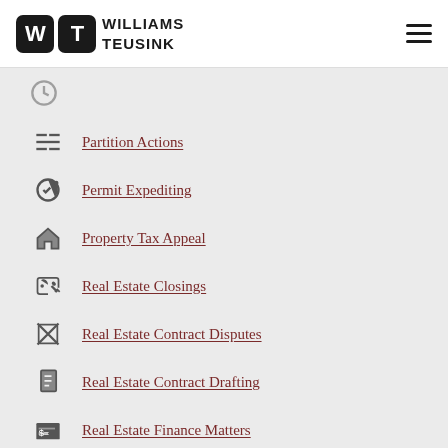Williams Teusink
Partition Actions
Permit Expediting
Property Tax Appeal
Real Estate Closings
Real Estate Contract Disputes
Real Estate Contract Drafting
Real Estate Finance Matters
Real Estate Mediation
Right to Repair Claims
Special Master
Tax Deed Investing
Title Litigation